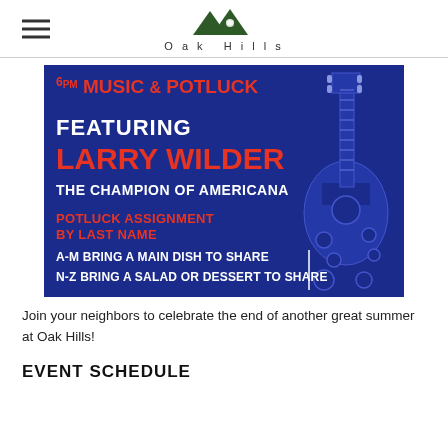Oak Hills
[Figure (infographic): Blue background event flyer: 6pm Music & Potluck featuring Larry Wilder The Champion of Americana. Potluck assignment by last name: A-M bring a main dish to share, N-Z bring a salad or dessert to share. Guitar graphic on right side.]
Join your neighbors to celebrate the end of another great summer at Oak Hills!
EVENT SCHEDULE